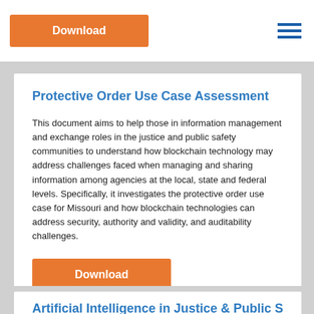[Figure (other): Orange Download button in top navigation bar]
[Figure (other): Hamburger menu icon with three blue horizontal lines]
Protective Order Use Case Assessment
This document aims to help those in information management and exchange roles in the justice and public safety communities to understand how blockchain technology may address challenges faced when managing and sharing information among agencies at the local, state and federal levels. Specifically, it investigates the protective order use case for Missouri and how blockchain technologies can address security, authority and validity, and auditability challenges.
[Figure (other): Orange Download button below the text body]
Artificial Intelligence in Justice & Public Safety